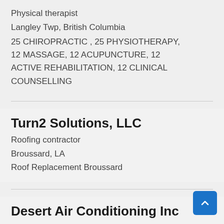Physical therapist
Langley Twp, British Columbia
25 CHIROPRACTIC , 25 PHYSIOTHERAPY, 12 MASSAGE, 12 ACUPUNCTURE, 12 ACTIVE REHABILITATION, 12 CLINICAL COUNSELLING
Turn2 Solutions, LLC
Roofing contractor
Broussard, LA
Roof Replacement Broussard
Desert Air Conditioning Inc
HVAC contractor